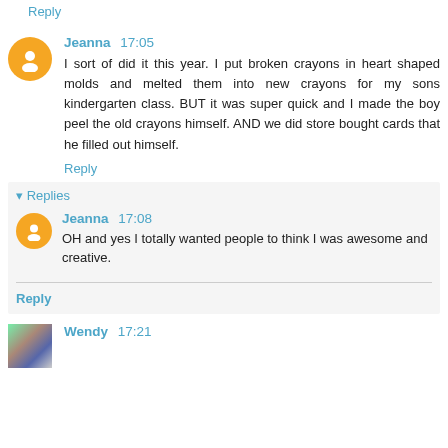Reply
Jeanna 17:05
I sort of did it this year. I put broken crayons in heart shaped molds and melted them into new crayons for my sons kindergarten class. BUT it was super quick and I made the boy peel the old crayons himself. AND we did store bought cards that he filled out himself.
Reply
Replies
Jeanna 17:08
OH and yes I totally wanted people to think I was awesome and creative.
Reply
Wendy 17:21